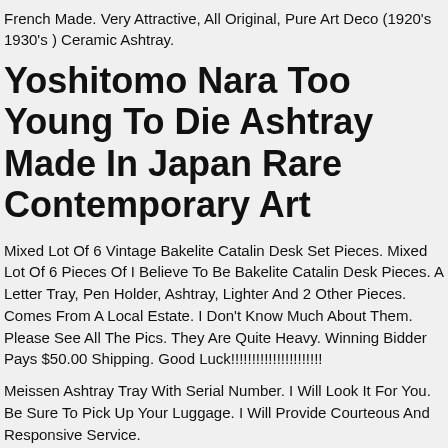French Made. Very Attractive, All Original, Pure Art Deco (1920's 1930's ) Ceramic Ashtray.
Yoshitomo Nara Too Young To Die Ashtray Made In Japan Rare Contemporary Art
Mixed Lot Of 6 Vintage Bakelite Catalin Desk Set Pieces. Mixed Lot Of 6 Pieces Of I Believe To Be Bakelite Catalin Desk Pieces. A Letter Tray, Pen Holder, Ashtray, Lighter And 2 Other Pieces. Comes From A Local Estate. I Don't Know Much About Them. Please See All The Pics. They Are Quite Heavy. Winning Bidder Pays $50.00 Shipping. Good Luck!!!!!!!!!!!!!!!!!!!!!!
Meissen Ashtray Tray With Serial Number. I Will Look It For You. Be Sure To Pick Up Your Luggage. I Will Provide Courteous And Responsive Service.